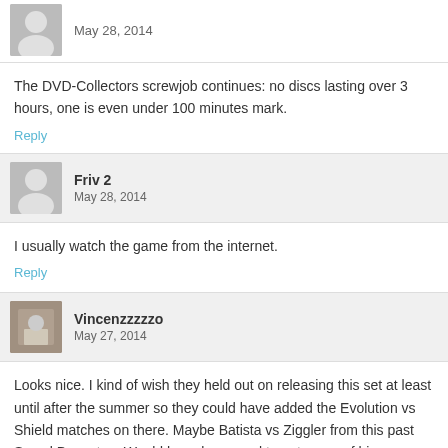May 28, 2014
The DVD-Collectors screwjob continues: no discs lasting over 3 hours, one is even under 100 minutes mark.
Reply
Friv 2
May 28, 2014
I usually watch the game from the internet.
Reply
Vincenzzzzzo
May 27, 2014
Looks nice. I kind of wish they held out on releasing this set at least until after the summer so they could have added the Evolution vs Shield matches on there. Maybe Batista vs Ziggler from this past SmackDown too. Would have been cool to get some of his very recent work on this set, but oh well.